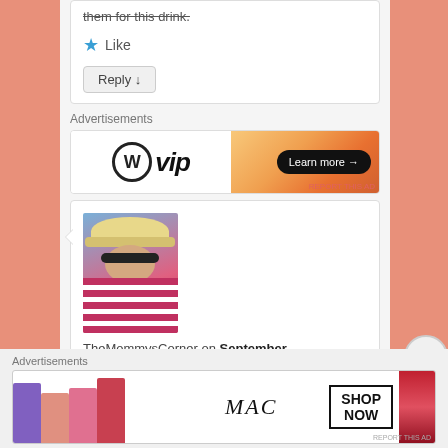them for this drink. [strikethrough]
★ Like
Reply ↓
Advertisements
[Figure (logo): WordPress VIP advertisement banner with orange gradient and Learn more button]
[Figure (photo): Profile photo of TheMommysCorner — woman in striped shirt and hat with sunglasses]
TheMommysCorner on September
Advertisements
[Figure (illustration): MAC cosmetics advertisement showing lipsticks in purple, pink and red shades with SHOP NOW box]